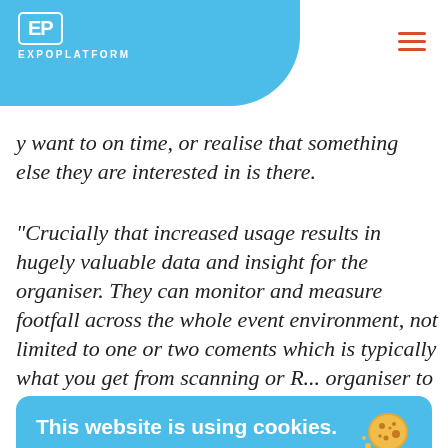EP EXPOPLATFORM
y want to on time, or realise that something else they are interested in is there.
“Crucially that increased usage results in hugely valuable data and insight for the organiser. They can monitor and measure footfall across the whole event environment, not limited to one or two components which is typically what you get from scanning or R... organiser to operate a better show – and ultimately an enhanced P&L – because there is insight into which e... which aren’t, which exhibitors are attracting footfall and
This website is using cookies. ExpoPlatform uses cookies to provide necessary website functionality, improve your experience and analyze our traffic. By using our website, you agree to our Privacy Policy and our cookies usage. To know more, about our Privacy Policy, click here
I accept